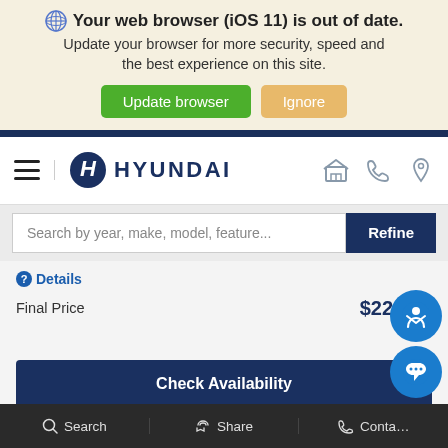Your web browser (iOS 11) is out of date. Update your browser for more security, speed and the best experience on this site.
Update browser | Ignore
[Figure (logo): Hyundai logo with H emblem and HYUNDAI text in dark blue]
Search by year, make, model, feature...
Refine
Details
Final Price $22,880
Check Availability
Request Lower Price
Search | Share | Contact